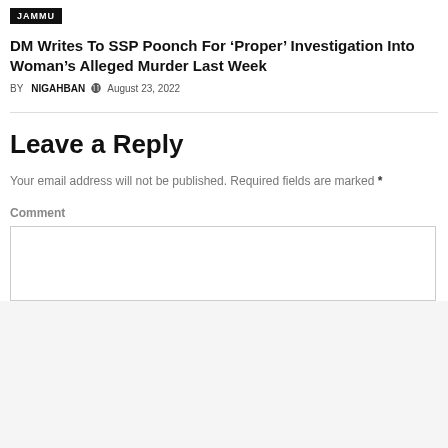JAMMU
DM Writes To SSP Poonch For ‘Proper’ Investigation Into Woman’s Alleged Murder Last Week
BY NIGAHBAN ⊙ August 23, 2022
Leave a Reply
Your email address will not be published. Required fields are marked *
Comment